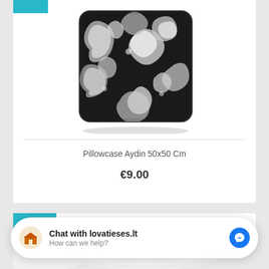[Figure (photo): Black and white decorative floral/paisley pillowcase product photo on white background, shown as square cushion]
Pillowcase Aydin 50x50 Cm
€9.00
[Figure (photo): Partial view of second product card with NEW badge in teal, showing beginning of another pillowcase product]
NEW
Chat with lovatieses.lt
How can we help?